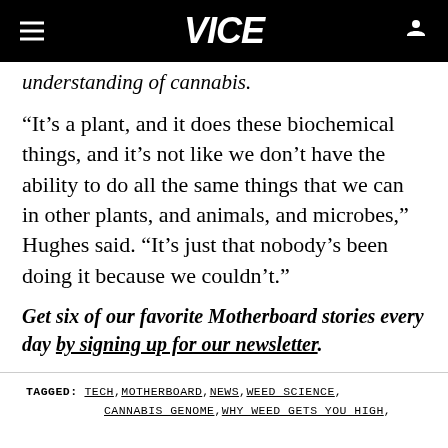VICE
understanding of cannabis.
“It’s a plant, and it does these biochemical things, and it’s not like we don’t have the ability to do all the same things that we can in other plants, and animals, and microbes,” Hughes said. “It’s just that nobody’s been doing it because we couldn’t.”
Get six of our favorite Motherboard stories every day by signing up for our newsletter.
TAGGED: TECH, MOTHERBOARD, NEWS, WEED SCIENCE, CANNABIS GENOME, WHY WEED GETS YOU HIGH,